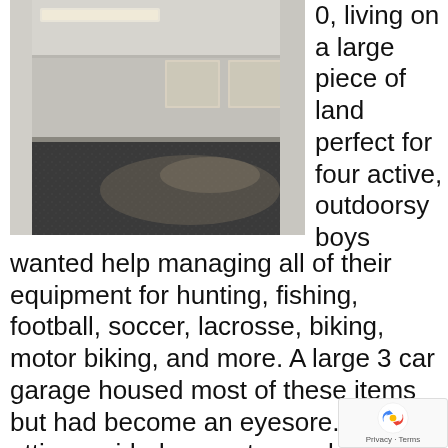[Figure (photo): Interior of a large empty garage with epoxy-coated dark speckled floor, white walls, and light coming through windows in the background.]
0, living on a large piece of land perfect for four active, outdoorsy boys wanted help managing all of their equipment for hunting, fishing, football, soccer, lacrosse, biking, motor biking, and more. A large 3 car garage housed most of these items but had become an eyesore. A walk-attic provided easy storage but had become a dumping ground for unused